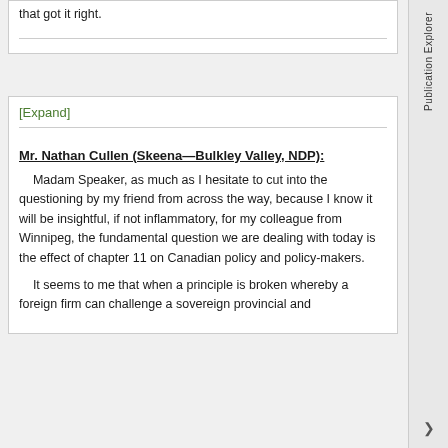that got it right.
[Expand]
Mr. Nathan Cullen (Skeena—Bulkley Valley, NDP):
Madam Speaker, as much as I hesitate to cut into the questioning by my friend from across the way, because I know it will be insightful, if not inflammatory, for my colleague from Winnipeg, the fundamental question we are dealing with today is the effect of chapter 11 on Canadian policy and policy-makers.
It seems to me that when a principle is broken whereby a foreign firm can challenge a sovereign provincial and federal government and the outcome of that is said to all